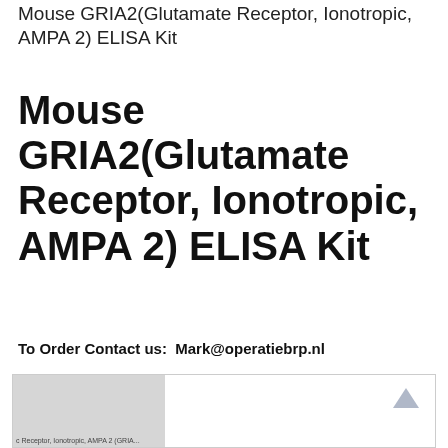Mouse GRIA2(Glutamate Receptor, Ionotropic, AMPA 2) ELISA Kit
Mouse GRIA2(Glutamate Receptor, Ionotropic, AMPA 2) ELISA Kit
To Order Contact us:  Mark@operatiebrp.nl
[Figure (other): Partial image strip showing a grayscale image thumbnail on the left with caption text partially visible reading 'c Receptor, Ionotropic, AMPA 2 (GRI...' and a white panel on the right with an upward-pointing arrow icon]